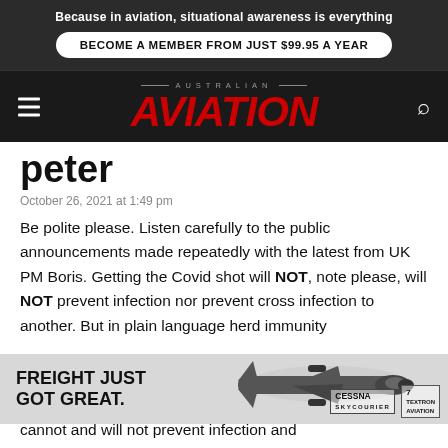Because in aviation, situational awareness is everything
BECOME A MEMBER FROM JUST $99.95 A YEAR
AVIATION
peter
October 26, 2021 at 1:49 pm
Be polite please. Listen carefully to the public announcements made repeatedly with the latest from UK PM Boris. Getting the Covid shot will NOT, note please, will NOT prevent infection nor prevent cross infection to another. But in plain language herd immunity ... n that cannot and will not prevent infection and
[Figure (photo): Advertisement banner for Cessna SkyCourier aircraft: 'FREIGHT JUST GOT GREAT.' with aircraft image and Cessna SkyCourier logo]